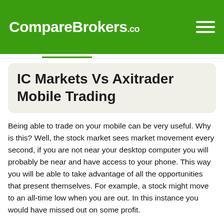CompareBrokers.co
IC Markets Vs Axitrader Mobile Trading
Being able to trade on your mobile can be very useful. Why is this? Well, the stock market sees market movement every second, if you are not near your desktop computer you will probably be near and have access to your phone. This way you will be able to take advantage of all the opportunities that present themselves. For example, a stock might move to an all-time low when you are out. In this instance you would have missed out on some profit.
If you have an iPhone you will need an IOS Apple mobile trading app. Thankfully these are very common and if a broker